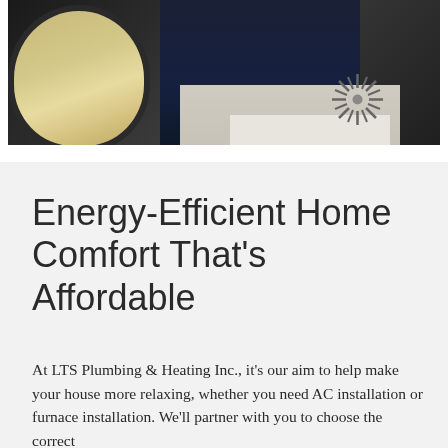[Figure (photo): Interior lifestyle photo showing a person in dark clothing near a round mirror with wood frame and a decorative starburst object on a stack of books on a table, dark background.]
Energy-Efficient Home Comfort That’s Affordable
At LTS Plumbing & Heating Inc., it’s our aim to help make your house more relaxing, whether you need AC installation or furnace installation. We’ll partner with you to choose the correct